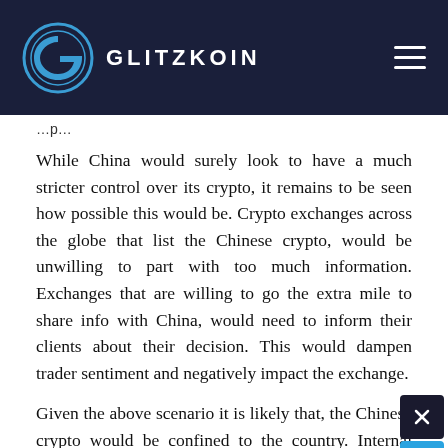GLITZKOIN
While China would surely look to have a much stricter control over its crypto, it remains to be seen how possible this would be. Crypto exchanges across the globe that list the Chinese crypto, would be unwilling to part with too much information. Exchanges that are willing to go the extra mile to share info with China, would need to inform their clients about their decision. This would dampen trader sentiment and negatively impact the exchange.
Given the above scenario it is likely that, the Chinese crypto would be confined to the country. Internal consumption within the country is huge and the crypto could get an impressive level of demand. And if this is the case, and attempts to...